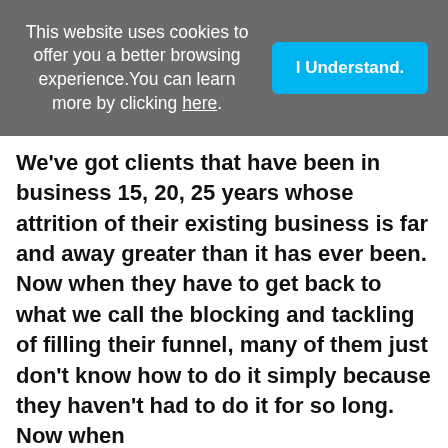This website uses cookies to offer you a better browsing experience.You can learn more by clicking here.
I Understand.
We've got clients that have been in business 15, 20, 25 years whose attrition of their existing business is far and away greater than it has ever been. Now when they have to get back to what we call the blocking and tackling of filling their funnel, many of them just don't know how to do it simply because they haven't had to do it for so long. Now when